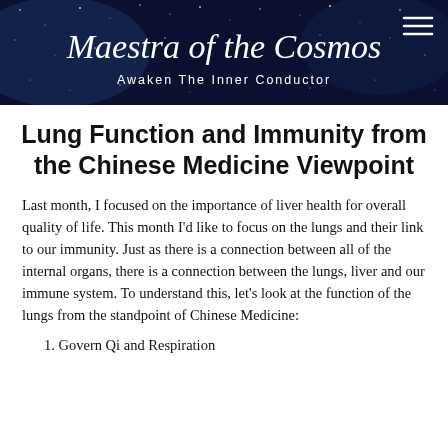Maestra of the Cosmos — Awaken The Inner Conductor
Lung Function and Immunity from the Chinese Medicine Viewpoint
Last month, I focused on the importance of liver health for overall quality of life. This month I'd like to focus on the lungs and their link to our immunity. Just as there is a connection between all of the internal organs, there is a connection between the lungs, liver and our immune system. To understand this, let's look at the function of the lungs from the standpoint of Chinese Medicine:
1. Govern Qi and Respiration